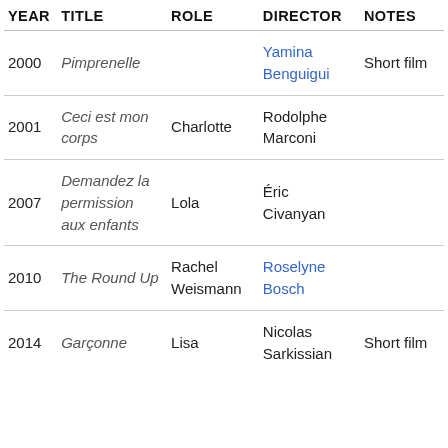| YEAR | TITLE | ROLE | DIRECTOR | NOTES |
| --- | --- | --- | --- | --- |
| 2000 | Pimprenelle |  | Yamina Benguigui | Short film |
| 2001 | Ceci est mon corps | Charlotte | Rodolphe Marconi |  |
| 2007 | Demandez la permission aux enfants | Lola | Éric Civanyan |  |
| 2010 | The Round Up | Rachel Weismann | Roselyne Bosch |  |
| 2014 | Garçonne | Lisa | Nicolas Sarkissian | Short film |